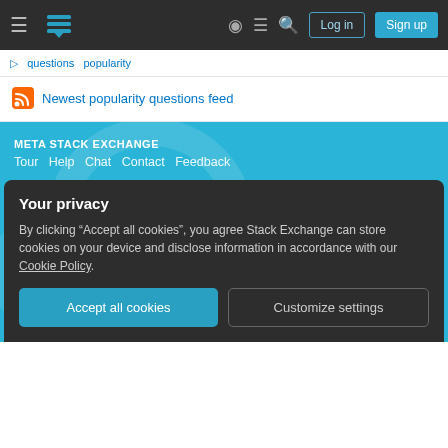Meta Stack Exchange navigation bar with Log in and Sign up buttons
Newest popularity questions feed
META STACK EXCHANGE
Tour  Help  Chat  Contact  Feedback
COMPANY
Stack Overflow  Teams  Advertising  Collectives  Talent  About  Press
Legal  Privacy Policy  Terms of Service  Cookie Settings  Cookie Policy
STACK EXCHANGE NETWORK
Your privacy
By clicking “Accept all cookies”, you agree Stack Exchange can store cookies on your device and disclose information in accordance with our Cookie Policy.
Accept all cookies    Customize settings